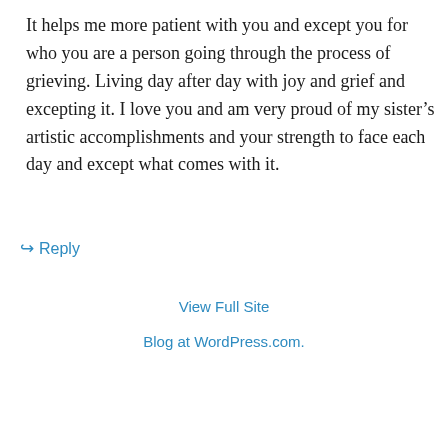It helps me more patient with you and except you for who you are a person going through the process of grieving. Living day after day with joy and grief and excepting it. I love you and am very proud of my sister’s artistic accomplishments and your strength to face each day and except what comes with it.
↳ Reply
View Full Site
Blog at WordPress.com.